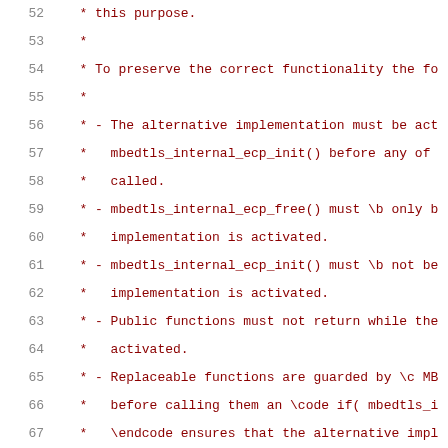52  * this purpose.
53  *
54  * To preserve the correct functionality the fo
55  *
56  * - The alternative implementation must be act
57  *   mbedtls_internal_ecp_init() before any of
58  *   called.
59  * - mbedtls_internal_ecp_free() must \b only b
60  *   implementation is activated.
61  * - mbedtls_internal_ecp_init() must \b not be
62  *   implementation is activated.
63  * - Public functions must not return while the
64  *   activated.
65  * - Replaceable functions are guarded by \c MB
66  *   before calling them an \code if( mbedtls_i
67  *   \endcode ensures that the alternative impl
68  *   group.
69  */
70  #if defined(MBEDTLS_ECP_INTERNAL_ALT)
71  #endif
72